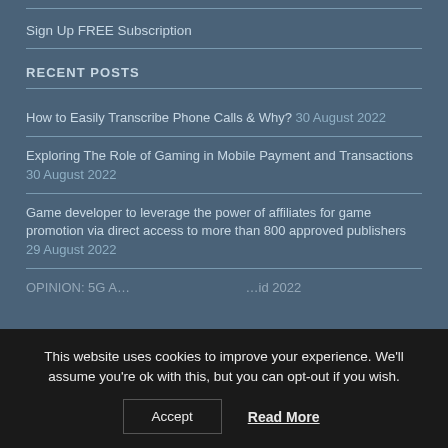Sign Up FREE Subscription
RECENT POSTS
How to Easily Transcribe Phone Calls & Why? 30 August 2022
Exploring The Role of Gaming in Mobile Payment and Transactions 30 August 2022
Game developer to leverage the power of affiliates for game promotion via direct access to more than 800 approved publishers 29 August 2022
OPINION: 5G A...  ...id 2022
This website uses cookies to improve your experience. We'll assume you're ok with this, but you can opt-out if you wish. Accept Read More